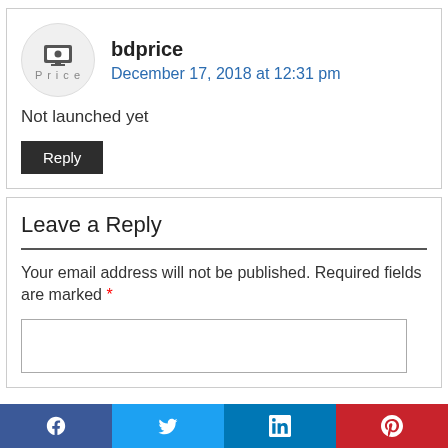bdprice
December 17, 2018 at 12:31 pm
Not launched yet
Reply
Leave a Reply
Your email address will not be published. Required fields are marked *